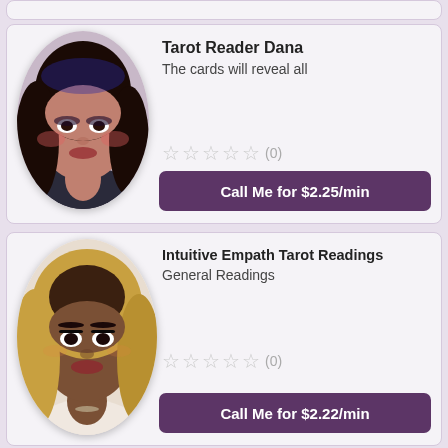[Figure (photo): Partial card with person avatar at top of page, cropped]
Tarot Reader Dana
The cards will reveal all
☆☆☆☆☆ (0)
Call Me for $2.25/min
Intuitive Empath Tarot Readings
General Readings
☆☆☆☆☆ (0)
Call Me for $2.22/min